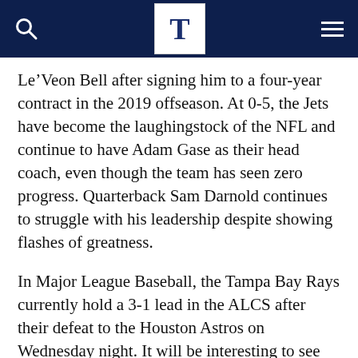T
Le’Veon Bell after signing him to a four-year contract in the 2019 offseason. At 0-5, the Jets have become the laughingstock of the NFL and continue to have Adam Gase as their head coach, even though the team has seen zero progress. Quarterback Sam Darnold continues to struggle with his leadership despite showing flashes of greatness.
In Major League Baseball, the Tampa Bay Rays currently hold a 3-1 lead in the ALCS after their defeat to the Houston Astros on Wednesday night. It will be interesting to see the reaction for the most valuable team in baseball history when this series finishes, if they win or pull a comeback.
As for the NLCS, the Los Angeles Dodgers pulled in an